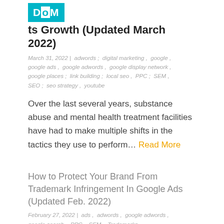12 Marketing Plans For Your Rehab Center To Kickstart Its Growth (Updated March 2022)
March 31, 2022 | adwords , digital marketing , google , google ads , google adwords , google display network , google places ; link building ; local seo , PPC ; SEM , SEO ; seo strategy , youtube
Over the last several years, substance abuse and mental health treatment facilities have had to make multiple shifts in the tactics they use to perform… Read More
How to Protect Your Brand From Trademark Infringement In Google Ads (Updated Feb. 2022)
February 27, 2022 | ads , adwords , google adwords , google search , PPC , SEM , Trademarks
Are you one of the many businesses that have a registered trademark on your products